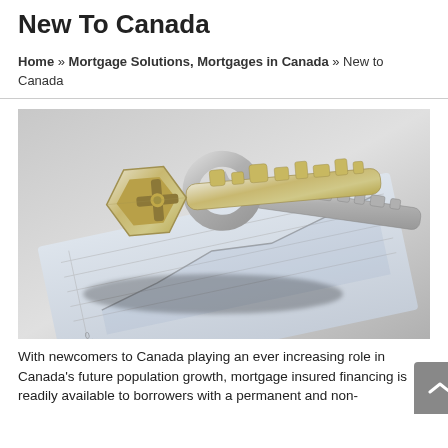New To Canada
Home » Mortgage Solutions, Mortgages in Canada » New to Canada
[Figure (photo): Two silver/gold house keys resting on a financial document or chart, with a blurred background.]
With newcomers to Canada playing an ever increasing role in Canada's future population growth, mortgage insured financing is readily available to borrowers with a permanent and non-